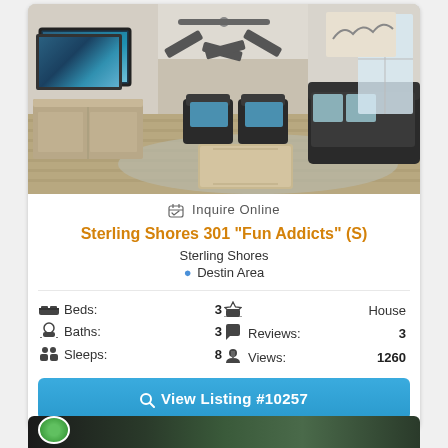[Figure (photo): Interior photo of a modern living room with dark leather sofas, ceiling fan, large wall-mounted TV, open floor plan with kitchen visible in background, hardwood floors]
Inquire Online
Sterling Shores 301 "Fun Addicts" (S)
Sterling Shores
Destin Area
Beds: 3
Baths: 3
Sleeps: 8
House
Reviews: 3
Views: 1260
View Listing #10257
[Figure (photo): Bottom strip showing another property photo with Emerald logo visible]